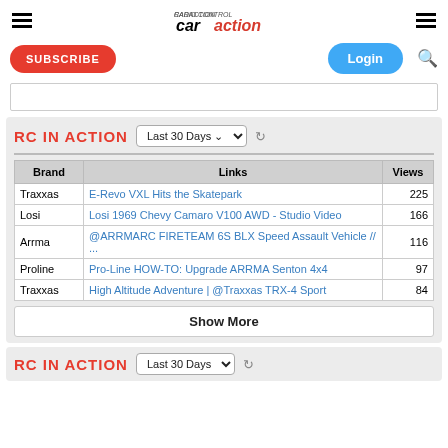RC Car Action - caraction logo with hamburger menus
SUBSCRIBE
Login
RC IN ACTION
| Brand | Links | Views |
| --- | --- | --- |
| Traxxas | E-Revo VXL Hits the Skatepark | 225 |
| Losi | Losi 1969 Chevy Camaro V100 AWD - Studio Video | 166 |
| Arrma | @ARRMARC FIRETEAM 6S BLX Speed Assault Vehicle // ... | 116 |
| Proline | Pro-Line HOW-TO: Upgrade ARRMA Senton 4x4 | 97 |
| Traxxas | High Altitude Adventure | @Traxxas TRX-4 Sport | 84 |
Show More
RC IN ACTION (bottom stub)